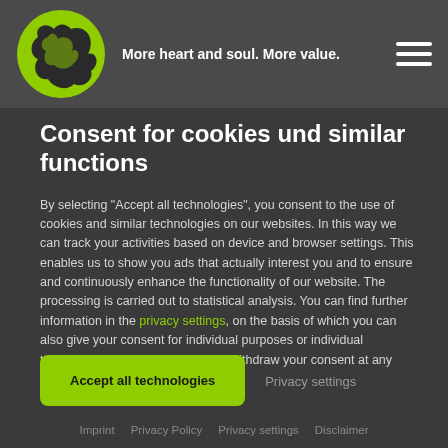More heart and soul. More value.
Consent for cookies und similar functions
By selecting "Accept all technologies", you consent to the use of cookies and similar technologies on our websites. In this way we can track your activities based on device and browser settings. This enables us to show you ads that actually interest you and to ensure and continuously enhance the functionality of our website. The processing is carried out to statistical analysis. You can find further information in the privacy settings, on the basis of which you can also give your consent for individual purposes or individual technologies. There you may also withdraw your consent at any time for the future.
Accept all technologies
Privacy settings
Imprint  Privacy Policy  Privacy settings  Disclaimer